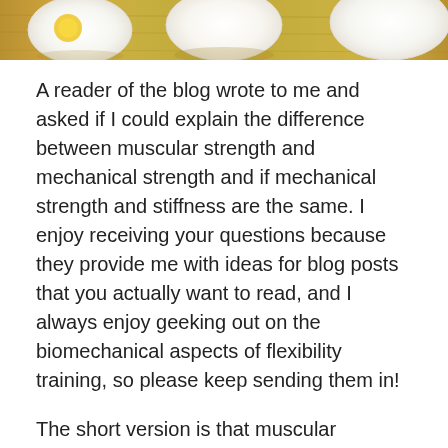[Figure (photo): A photo strip showing hard-boiled eggs and raw eggs on a wooden surface with yellow/golden tones, cropped at the top of the page.]
A reader of the blog wrote to me and asked if I could explain the difference between muscular strength and mechanical strength and if mechanical strength and stiffness are the same. I enjoy receiving your questions because they provide me with ideas for blog posts that you actually want to read, and I always enjoy geeking out on the biomechanical aspects of flexibility training, so please keep sending them in!
The short version is that muscular strength and mechanical strength are not the same, and also, no, mechanical strength and stiffness are not the same, although they are related concepts.
Muscular strength is the amount of force (active tension) the muscles can voluntarily overcome external resistance. Weight lifting enthusiasts typically